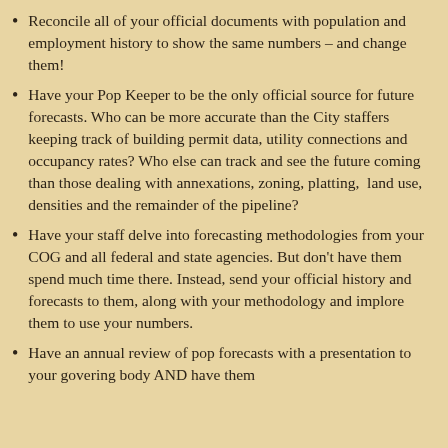Reconcile all of your official documents with population and employment history to show the same numbers – and change them!
Have your Pop Keeper to be the only official source for future forecasts. Who can be more accurate than the City staffers keeping track of building permit data, utility connections and occupancy rates? Who else can track and see the future coming than those dealing with annexations, zoning, platting, land use, densities and the remainder of the pipeline?
Have your staff delve into forecasting methodologies from your COG and all federal and state agencies. But don't have them spend much time there. Instead, send your official history and forecasts to them, along with your methodology and implore them to use your numbers.
Have an annual review of pop forecasts with a presentation to your govering body AND have them